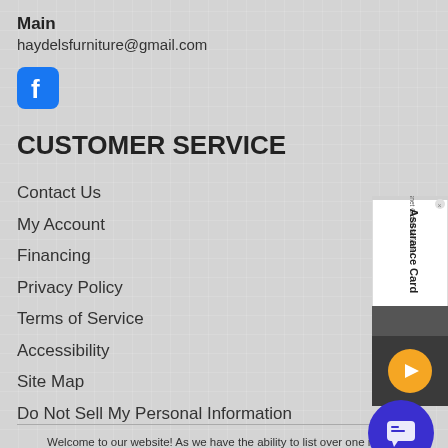Main
haydelsfurniture@gmail.com
[Figure (logo): Facebook logo icon, blue rounded square with white 'f']
CUSTOMER SERVICE
Contact Us
My Account
Financing
Privacy Policy
Terms of Service
Accessibility
Site Map
Do Not Sell My Personal Information
[Figure (other): Sysnet Global Solutions Assurance Card promotional card, partially visible on right edge, with orange play button]
Welcome to our website! As we have the ability to list over one mill on our website (our selection changes all of the time), it is not feas company our size to record and playback the descriptions on every h our website. However, if you have a disability we are here to help you. Please call our disability services phone line at (985) 764-6866 during